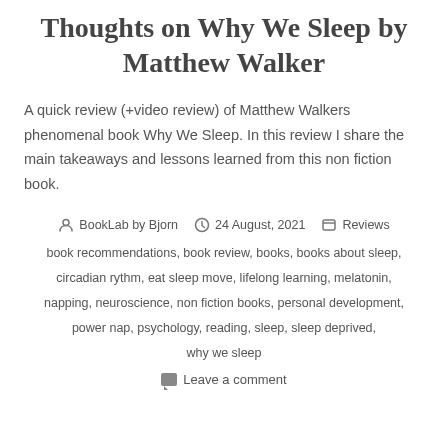Thoughts on Why We Sleep by Matthew Walker
A quick review (+video review) of Matthew Walkers phenomenal book Why We Sleep. In this review I share the main takeaways and lessons learned from this non fiction book.
Author: BookLab by Bjorn  |  24 August, 2021  |  Reviews
book recommendations, book review, books, books about sleep, circadian rythm, eat sleep move, lifelong learning, melatonin, napping, neuroscience, non fiction books, personal development, power nap, psychology, reading, sleep, sleep deprived, why we sleep
Leave a comment